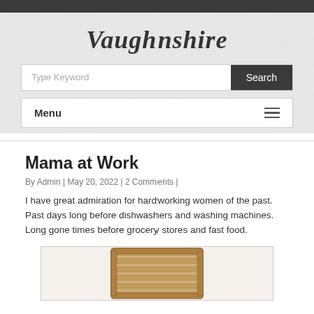Vaughnshire
Type Keyword
Search
Menu
Mama at Work
By Admin | May 20, 2022 | 2 Comments |
I have great admiration for hardworking women of the past.  Past days long before dishwashers and washing machines.  Long gone times before grocery stores and fast food.
[Figure (photo): A vintage wooden washboard photographed against a white background]